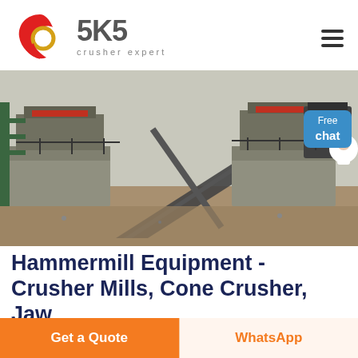[Figure (logo): SKS Crusher Expert logo: red stylized swirl/flame icon on the left, bold gray 'SKS' text, and 'crusher expert' in spaced gray letters below]
[Figure (photo): Industrial crushing plant photo showing conveyor belts, concrete structures, and heavy machinery at an outdoor facility]
Hammermill Equipment - Crusher Mills, Cone Crusher, Jaw
HAMMERMILL Equipment For Sale, New & Used, page continues...